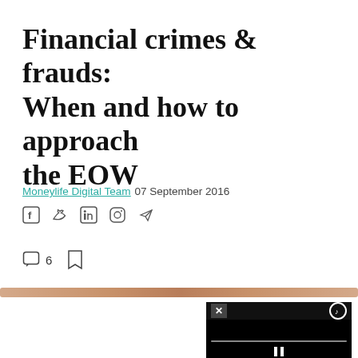Financial crimes & frauds: When and how to approach the EOW
Moneylife Digital Team 07 September 2016
[Figure (screenshot): Social media sharing icons: Facebook, Twitter, LinkedIn, Instagram, Telegram]
[Figure (screenshot): Action icons: comment bubble with count 6, bookmark icon]
[Figure (photo): Thin horizontal image showing a narrow wooden or metallic rod against a white background]
[Figure (screenshot): Black video player widget with close (X) button, audio/settings icon, progress bar, and pause (||) button]